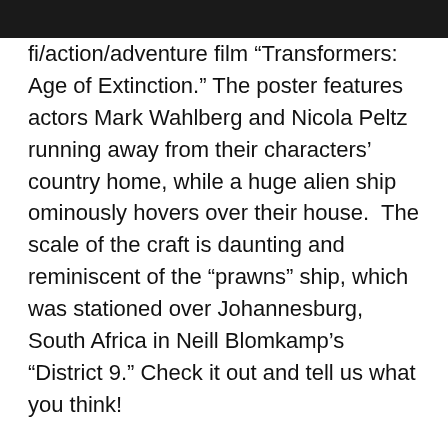fi/action/adventure film “Transformers: Age of Extinction.” The poster features actors Mark Wahlberg and Nicola Peltz running away from their characters’ country home, while a huge alien ship ominously hovers over their house.  The scale of the craft is daunting and reminiscent of the “prawns” ship, which was stationed over Johannesburg, South Africa in Neill Blomkamp’s “District 9.” Check it out and tell us what you think!